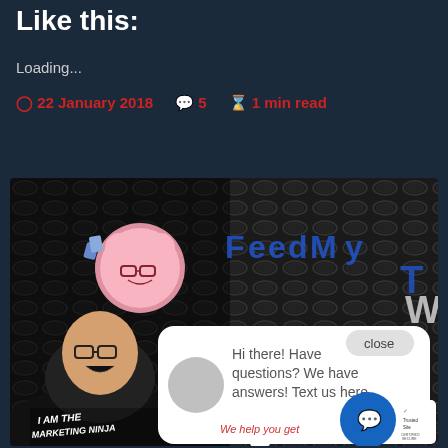Like this:
Loading...
22 January 2018   5   1 min read
[Figure (screenshot): Screenshot of a website showing a marketing ninja blog post with a chat popup overlay. A man in a black 'I AM THE MARKETING NINJA' shirt is visible, along with a pink brain mascot with glasses. A white chat bubble reads 'Hi there! Have questions? We have answers! Text us here.' with a close button. Bottom shows C. E. Snyder M... branding and a TrustedSite certified secure badge.]